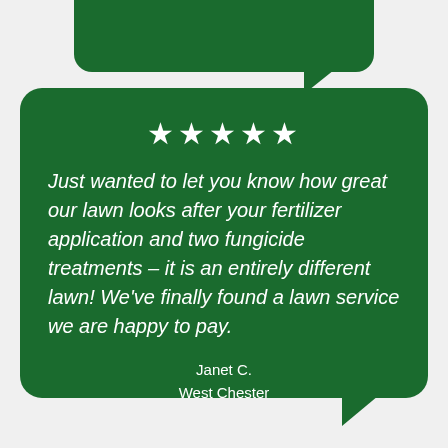[Figure (other): Green speech bubble containing a 5-star customer review]
Just wanted to let you know how great our lawn looks after your fertilizer application and two fungicide treatments – it is an entirely different lawn! We've finally found a lawn service we are happy to pay.
Janet C.
West Chester